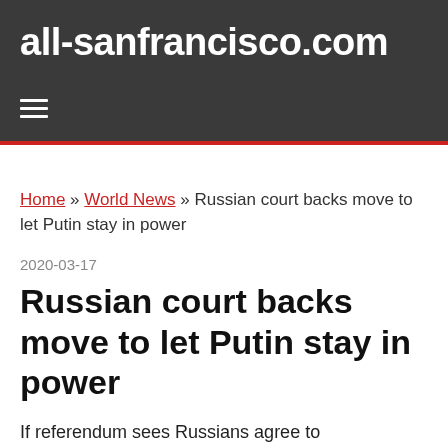all-sanfrancisco.com
Home » World News » Russian court backs move to let Putin stay in power
2020-03-17
Russian court backs move to let Putin stay in power
If referendum sees Russians agree to constitutional changes, Putin could potentially stay